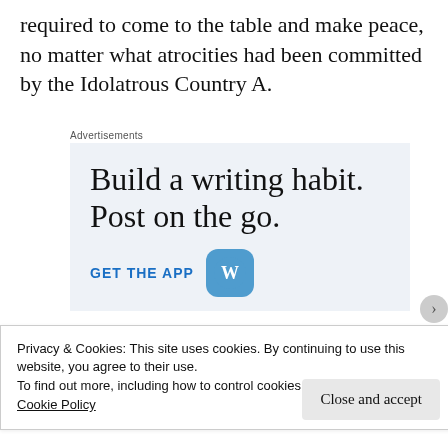required to come to the table and make peace, no matter what atrocities had been committed by the Idolatrous Country A.
[Figure (infographic): Advertisement box with light blue background. Headline: 'Build a writing habit. Post on the go.' with a 'GET THE APP' call to action in blue text and WordPress logo icon.]
Privacy & Cookies: This site uses cookies. By continuing to use this website, you agree to their use.
To find out more, including how to control cookies, see here:
Cookie Policy
Close and accept